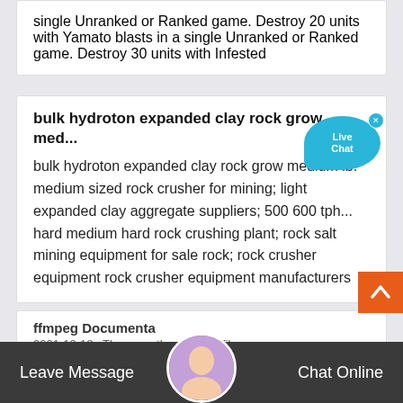single Unranked or Ranked game. Destroy 20 units with Yamato blasts in a single Unranked or Ranked game. Destroy 30 units with Infested
bulk hydroton expanded clay rock grow med...
bulk hydroton expanded clay rock grow medium lb. medium sized rock crusher for mining; light expanded clay aggregate suppliers; 500 600 tph... hard medium hard rock crushing plant; rock salt mining equipment for sale rock; rock crusher equipment rock crusher equipment manufacturers
[Figure (other): Live Chat bubble widget in blue with close X button]
[Figure (other): Back to top orange button with upward chevron]
ffmpeg Documenta
2021-12-18 · There are three output files
Leave Message   Chat Online